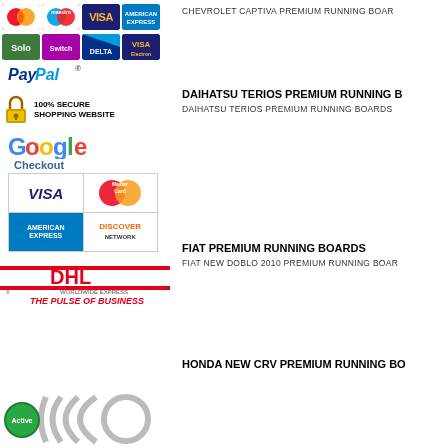CHEVROLET CAPTIVA PREMIUM RUNNING BOARD
[Figure (logo): Payment method logos: MasterCard, Maestro, Visa, Amex, Solo, Switch, Delta, Visa Electron, PayPal]
[Figure (logo): 100% Secure Shopping Website with padlock icon]
[Figure (logo): Google Checkout logo with Visa, MasterCard, American Express, Discover cards]
DAIHATSU TERIOS PREMIUM RUNNING B
DAIHATSU TERIOS PREMIUM RUNNING BOARDS
FIAT PREMIUM RUNNING BOARDS
FIAT NEW DOBLO 2010 PREMIUM RUNNING BOARD
[Figure (logo): DHL Worldwide Express - The Pulse of Business logo]
[Figure (logo): Active badge (green circle) with wavy circular lines]
HONDA NEW CRV PREMIUM RUNNING BO